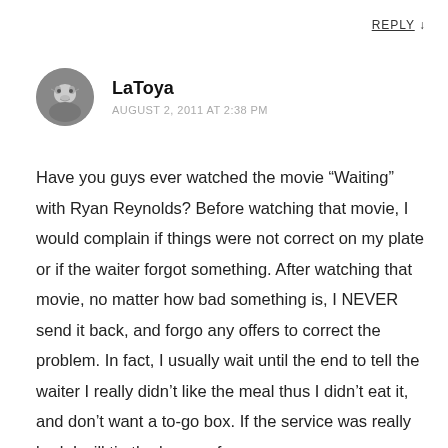REPLY ↓
LaToya
AUGUST 2, 2011 AT 2:38 PM
Have you guys ever watched the movie “Waiting” with Ryan Reynolds? Before watching that movie, I would complain if things were not correct on my plate or if the waiter forgot something. After watching that movie, no matter how bad something is, I NEVER send it back, and forgo any offers to correct the problem. In fact, I usually wait until the end to tell the waiter I really didn’t like the meal thus I didn’t eat it, and don’t want a to-go box. If the service was really bad, I will tip the lesser of